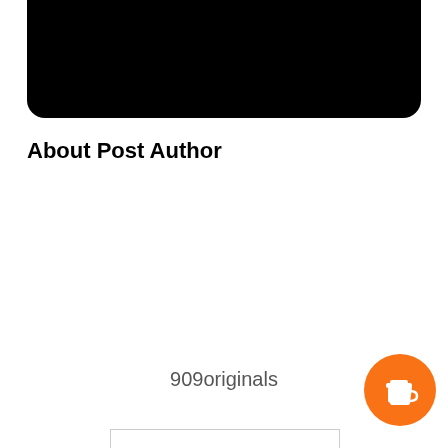[Figure (photo): Black rounded rectangle image area at top of page]
About Post Author
909originals
[Figure (illustration): Orange circular coffee cup button in bottom right corner]